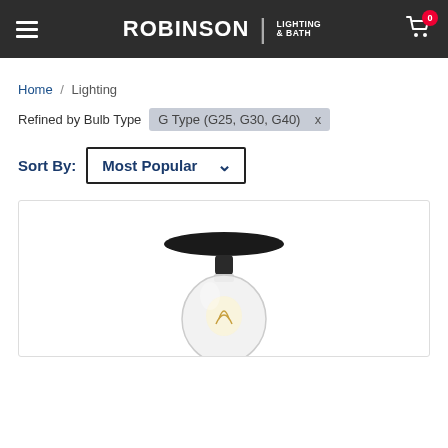ROBINSON | LIGHTING & BATH — navigation header with hamburger menu and cart (0 items)
Home / Lighting
Refined by Bulb Type   G Type (G25, G30, G40) x
Sort By: Most Popular
[Figure (photo): Ceiling-mount light fixture with a black round canopy and a clear globe Edison-style bulb, shown from slightly below on a white background.]